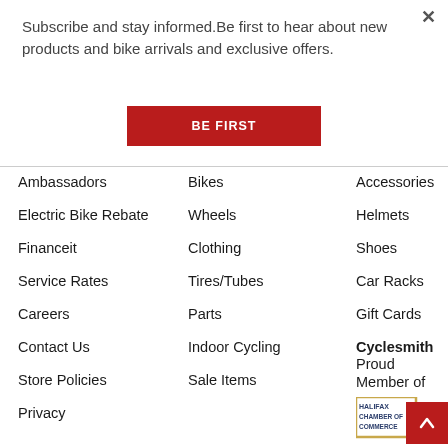Subscribe and stay informed.Be first to hear about new products and bike arrivals and exclusive offers.
BE FIRST
Ambassadors
Electric Bike Rebate
Financeit
Service Rates
Careers
Contact Us
Store Policies
Privacy
Bikes
Wheels
Clothing
Tires/Tubes
Parts
Indoor Cycling
Sale Items
Accessories
Helmets
Shoes
Car Racks
Gift Cards
Cyclesmith Proud Member of
[Figure (logo): Halifax Chamber of Commerce logo]